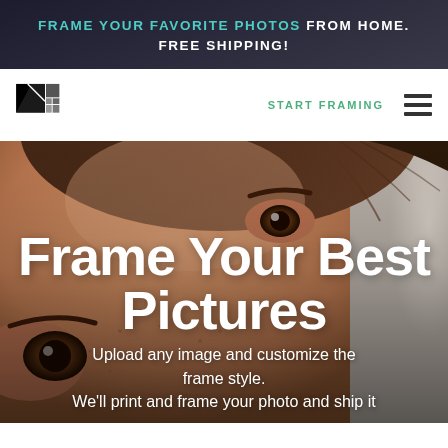FRAME YOUR FAVORITE PHOTOS FROM HOME. FREE SHIPPING!
[Figure (logo): Framing company logo with black and grey geometric square grid pattern]
START FRAMING
[Figure (photo): Close-up photo of a young woman's face with freckles and brown eyes, used as hero background image]
Frame Your Best Pictures
Upload any image and customize the frame style.
We'll print and frame your photo and ship it